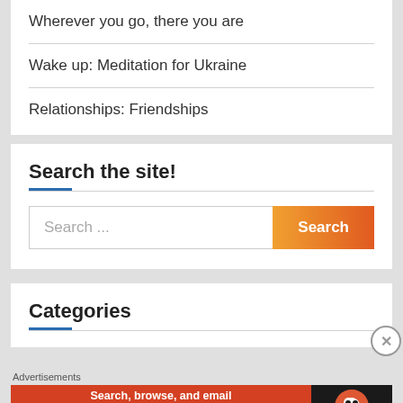Wherever you go, there you are
Wake up: Meditation for Ukraine
Relationships: Friendships
Search the site!
Search ...
Categories
Advertisements
[Figure (infographic): DuckDuckGo advertisement banner: orange background with text 'Search, browse, and email with more privacy. All in One Free App' and DuckDuckGo logo on dark right panel]